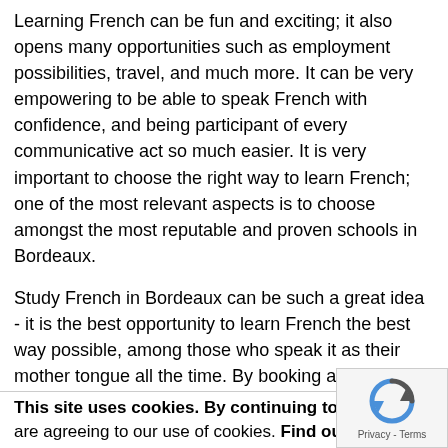Learning French can be fun and exciting; it also opens many opportunities such as employment possibilities, travel, and much more. It can be very empowering to be able to speak French with confidence, and being participant of every communicative act so much easier. It is very important to choose the right way to learn French; one of the most relevant aspects is to choose amongst the most reputable and proven schools in Bordeaux.
Study French in Bordeaux can be such a great idea - it is the best opportunity to learn French the best way possible, among those who speak it as their mother tongue all the time. By booking a French language study travel package in Bordeaux 2014, students will spend time experiencing new cultures where their chosen language is built, as well as learning better and much quicker than by studying from books, recordings or even in a classroom or at home.
By learning a new language, you get to make new friends
This site uses cookies. By continuing to browse the si are agreeing to our use of cookies. Find out more here